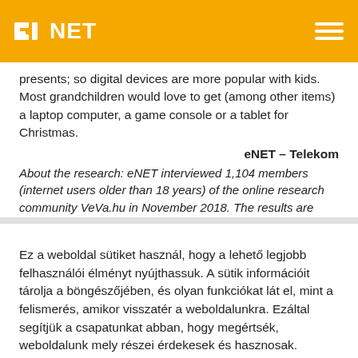eNET — logo and navigation header
presents; so digital devices are more popular with kids. Most grandchildren would love to get (among other items) a laptop computer, a game console or a tablet for Christmas.
eNET – Telekom
About the research: eNET interviewed 1,104 members (internet users older than 18 years) of the online research community VeVa.hu in November 2018. The results are representative of the views of adult Hungarian internet users by gender, age and region.
Ez a weboldal sütiket használ, hogy a lehető legjobb felhasználói élményt nyújthassuk. A sütik információit tárolja a böngészőjében, és olyan funkciókat lát el, mint a felismerés, amikor visszatér a weboldalunkra. Ezáltal segítjük a csapatunkat abban, hogy megértsék, weboldalunk mely részei érdekesek és hasznosak.
Sütibeállítások
Elfogadom, bekapcsolom a sütiket